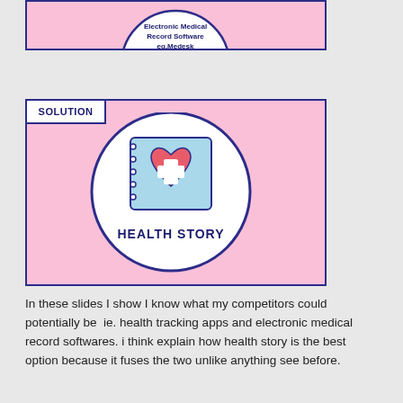[Figure (infographic): Pink panel showing top portion of Electronic Medical Record Software eg.Medesk circle]
[Figure (infographic): Pink panel with SOLUTION tab label and central circle containing a health record book icon with heart and medical cross, labeled HEALTH STORY]
In these slides I show I know what my competitors could potentially be  ie. health tracking apps and electronic medical record softwares. i think explain how health story is the best option because it fuses the two unlike anything see before.